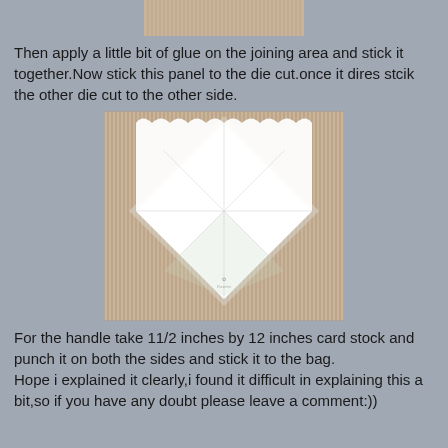[Figure (photo): Top partial photo showing vertical wooden slats/bamboo mat texture]
Then apply a little bit of glue on the joining area and stick it together.Now stick this panel to the die cut.once it dires stcik the other die cut to the other side.
[Figure (photo): Photo of a white paper/card stock folded into a diamond/triangular basket or bag shape with scalloped top edge, placed on a wooden slat background]
For the handle take 11/2 inches by 12 inches card stock and punch it on both the sides and stick it to the bag.
Hope i explained it clearly,i found it difficult in explaining this a bit,so if you have any doubt please leave a comment:))